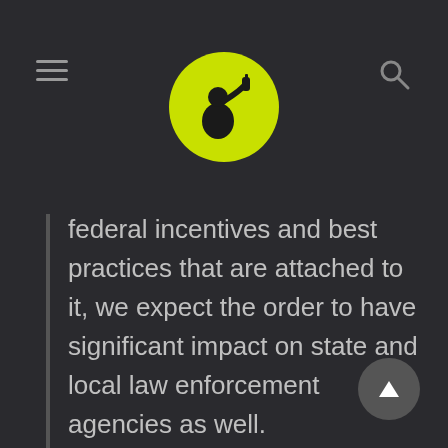[Figure (logo): Circular yellow-green logo with black silhouette of a person drinking from a bottle]
federal incentives and best practices that are attached to it, we expect the order to have significant impact on state and local law enforcement agencies as well.